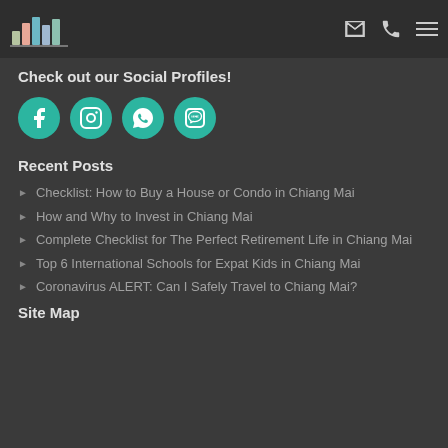[Figure (logo): Live In CM logo with colorful bar chart graphic and text 'LIVE IN CM']
Check out our Social Profiles!
[Figure (infographic): Four teal circular social media icons: Facebook, Instagram, WhatsApp, Line]
Recent Posts
Checklist: How to Buy a House or Condo in Chiang Mai
How and Why to Invest in Chiang Mai
Complete Checklist for The Perfect Retirement Life in Chiang Mai
Top 6 International Schools for Expat Kids in Chiang Mai
Coronavirus ALERT: Can I Safely Travel to Chiang Mai?
Site Map